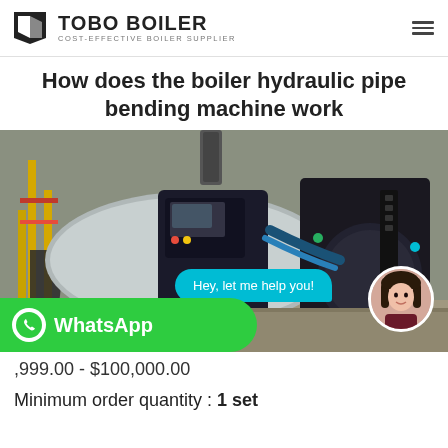TOBO BOILER — COST-EFFECTIVE BOILER SUPPLIER
How does the boiler hydraulic pipe bending machine work
[Figure (photo): Industrial boiler equipment in a factory setting, with a live chat overlay bubble saying 'Hey, let me help you!' and a female assistant avatar, plus a WhatsApp button]
$999.00 - $100,000.00
Minimum order quantity : 1 set